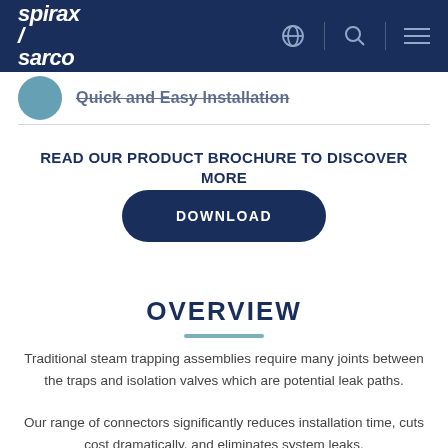spirax sarco
Quick and Easy Installation
READ OUR PRODUCT BROCHURE TO DISCOVER MORE
DOWNLOAD
OVERVIEW
Traditional steam trapping assemblies require many joints between the traps and isolation valves which are potential leak paths.
Our range of connectors significantly reduces installation time, cuts cost dramatically, and eliminates system leaks.